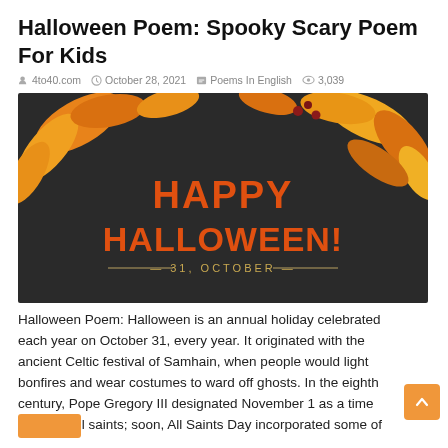Halloween Poem: Spooky Scary Poem For Kids
4to40.com  October 28, 2021  Poems In English  3,039
[Figure (illustration): Halloween decorative image with orange maple leaves on dark background, text reading HAPPY HALLOWEEN! and — 31, OCTOBER —]
Halloween Poem: Halloween is an annual holiday celebrated each year on October 31, every year. It originated with the ancient Celtic festival of Samhain, when people would light bonfires and wear costumes to ward off ghosts. In the eighth century, Pope Gregory III designated November 1 as a time to honor all saints; soon, All Saints Day incorporated some of …